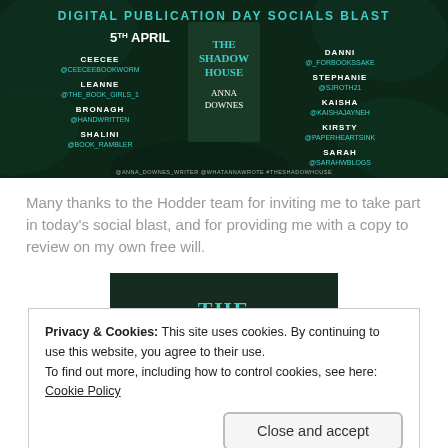[Figure (infographic): Digital Publication Day Socials Blast banner for The Shadow House by Anna Downes, dated 5th April. Lists bloggers: CEECEE @CEECEEBOOKWORM, LEANNE @THE_BOOK_GIRLS_1, BRONAGH @HANDWRITTEN, SHALINI @BOOK_RAMBLER, DANNI @_FORBOOKSSAKE, STEPHANIE @SJROTH21, KAISHA @KAISHAJAYNEH, KIRSTY @PAPERHEARTSINK, SARAH @SARAHWBLOGS. Social handles at bottom: @ANNA_DOWNES_WRITER @WHATANNAWROTE #THESHADOWHOUSE]
Many thanks to the Hodder team for inviting me to take part in today's social blast, and for providing me with a copy to review on my own free will.
[Figure (photo): Partial book cover image of The Shadow House by Anna Downes, showing dark atmospheric background with teal text 'THE']
Privacy & Cookies: This site uses cookies. By continuing to use this website, you agree to their use.
To find out more, including how to control cookies, see here: Cookie Policy
Close and accept